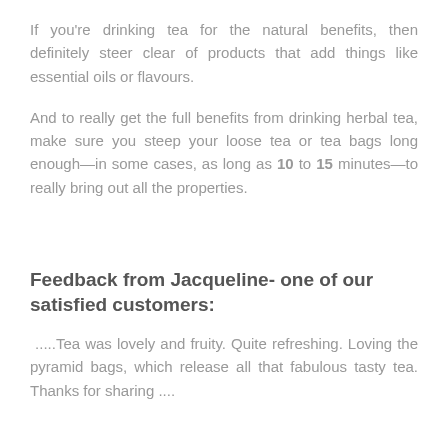If you're drinking tea for the natural benefits, then definitely steer clear of products that add things like essential oils or flavours.
And to really get the full benefits from drinking herbal tea, make sure you steep your loose tea or tea bags long enough—in some cases, as long as 10 to 15 minutes—to really bring out all the properties.
Feedback from Jacqueline- one of our satisfied customers:
.....Tea was lovely and fruity. Quite refreshing. Loving the pyramid bags, which release all that fabulous tasty tea. Thanks for sharing ....